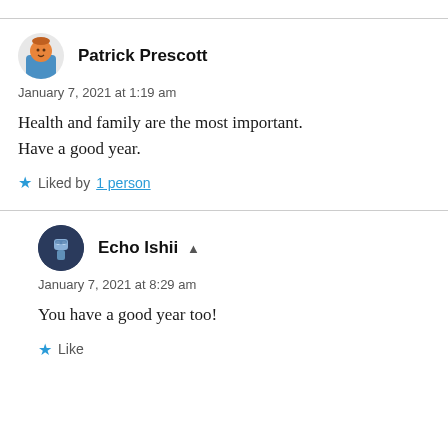[Figure (illustration): Avatar of Patrick Prescott — cartoon character with orange head, blue body]
Patrick Prescott
January 7, 2021 at 1:19 am
Health and family are the most important. Have a good year.
★ Liked by 1 person
[Figure (illustration): Avatar of Echo Ishii — dark circular avatar with figure illustration]
Echo Ishii ▲
January 7, 2021 at 8:29 am
You have a good year too!
★ Like